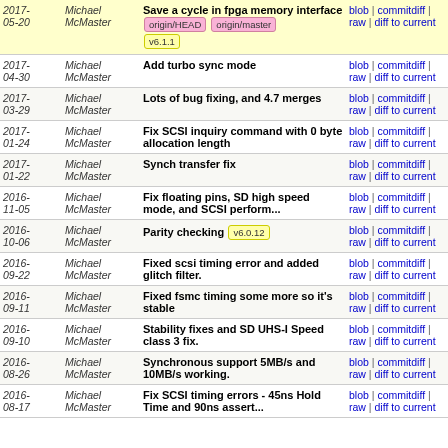| Date | Author | Description | Links |
| --- | --- | --- | --- |
| 2017-05-20 | Michael McMaster | Save a cycle in fpga memory interface [origin/HEAD] [origin/master] [v6.1.1] | blob | commitdiff | raw | diff to current |
| 2017-04-30 | Michael McMaster | Add turbo sync mode | blob | commitdiff | raw | diff to current |
| 2017-03-29 | Michael McMaster | Lots of bug fixing, and 4.7 merges | blob | commitdiff | raw | diff to current |
| 2017-01-24 | Michael McMaster | Fix SCSI inquiry command with 0 byte allocation length | blob | commitdiff | raw | diff to current |
| 2017-01-22 | Michael McMaster | Synch transfer fix | blob | commitdiff | raw | diff to current |
| 2016-11-05 | Michael McMaster | Fix floating pins, SD high speed mode, and SCSI perform... | blob | commitdiff | raw | diff to current |
| 2016-10-06 | Michael McMaster | Parity checking [v6.0.12] | blob | commitdiff | raw | diff to current |
| 2016-09-22 | Michael McMaster | Fixed scsi timing error and added glitch filter. | blob | commitdiff | raw | diff to current |
| 2016-09-11 | Michael McMaster | Fixed fsmc timing some more so it's stable | blob | commitdiff | raw | diff to current |
| 2016-09-10 | Michael McMaster | Stability fixes and SD UHS-I Speed class 3 fix. | blob | commitdiff | raw | diff to current |
| 2016-08-26 | Michael McMaster | Synchronous support 5MB/s and 10MB/s working. | blob | commitdiff | raw | diff to current |
| 2016-08-17 | Michael McMaster | Fix SCSI timing errors - 45ns Hold Time and 90ns assert... | blob | commitdiff | raw | diff to current |